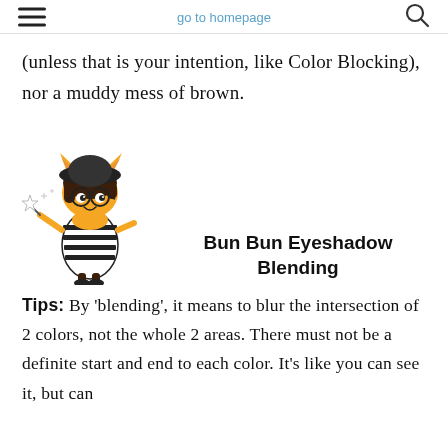go to homepage
(unless that is your intention, like Color Blocking), nor a muddy mess of brown.
[Figure (illustration): Cartoon character: a small stylized girl/elf with orange skin, cat ears, black beret hat, glasses, dark hair, wearing a black and white striped dress, holding a magic wand with sparkles.]
Bun Bun Eyeshadow Blending
Tips: By 'blending', it means to blur the intersection of 2 colors, not the whole 2 areas. There must not be a definite start and end to each color. It's like you can see it, but can